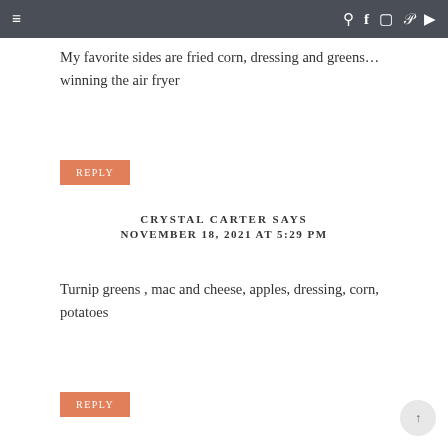≡  🔍 f 📷 𝗽 ▶
My favorite sides are fried corn, dressing and greens… winning the air fryer
REPLY
CRYSTAL CARTER SAYS
NOVEMBER 18, 2021 AT 5:29 PM
Turnip greens , mac and cheese, apples, dressing, corn, potatoes
REPLY